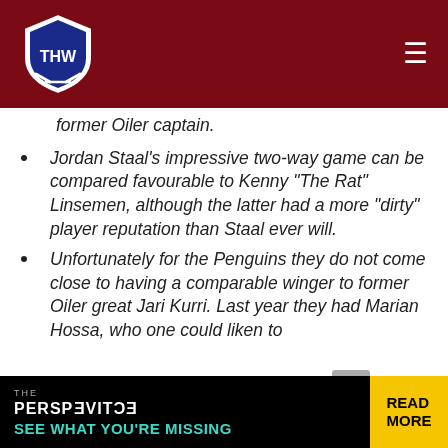THW - The Hockey Writers
former Oiler captain.
Jordan Staal's impressive two-way game can be compared favourable to Kenny “The Rat” Linsemen, although the latter had a more “dirty” player reputation than Staal ever will.
Unfortunately for the Penguins they do not come close to having a comparable winger to former Oiler great Jari Kurri. Last year they had Marian Hossa, who one could liken to